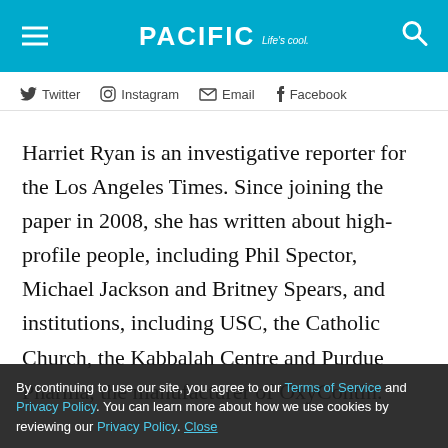PACIFIC Life's cool
Twitter  Instagram  Email  Facebook
Harriet Ryan is an investigative reporter for the Los Angeles Times. Since joining the paper in 2008, she has written about high-profile people, including Phil Spector, Michael Jackson and Britney Spears, and institutions, including USC, the Catholic Church, the Kabbalah Centre and Purdue Pharma, the manufacturer of OxyContin. Ryan won the Pulitzer Prize for investigative reporting with colleagues Matt Hamilton and Paul Pringle in 2019. She previously worked at Court TV and the Asbury Park Press. She is a graduate of Columbia University.
By continuing to use our site, you agree to our Terms of Service and Privacy Policy. You can learn more about how we use cookies by reviewing our Privacy Policy. Close